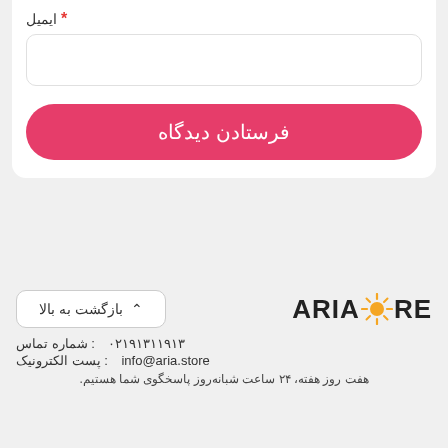ایمیل *
[Figure (screenshot): Email input field (empty text box with rounded border)]
[Figure (screenshot): Submit button with red/pink rounded background and white text 'فرستادن دیدگاه']
[Figure (screenshot): Empty white card/input area below the form]
[Figure (logo): ARIASTORE logo with sun icon replacing the O]
[Figure (screenshot): Back to top button with arrow icon and text 'بازگشت به بالا']
شماره تماس : ۰۲۱۹۱۳۱۱۹۱۳
پست الکترونیک : info@aria.store
هفت روز هفته، ۲۴ ساعت شبانه‌روز پاسخگوی شما هستیم.